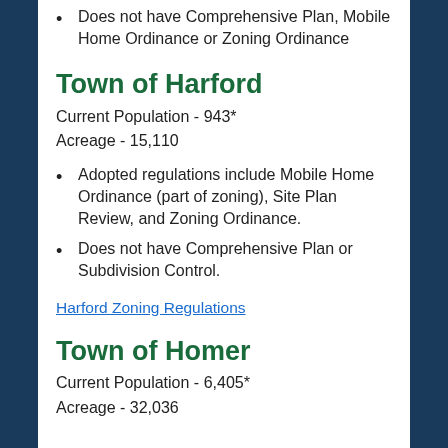Does not have Comprehensive Plan, Mobile Home Ordinance or Zoning Ordinance
Town of Harford
Current Population - 943*
Acreage - 15,110
Adopted regulations include Mobile Home Ordinance (part of zoning), Site Plan Review, and Zoning Ordinance.
Does not have Comprehensive Plan or Subdivision Control.
Harford Zoning Regulations
Town of Homer
Current Population - 6,405*
Acreage - 32,036